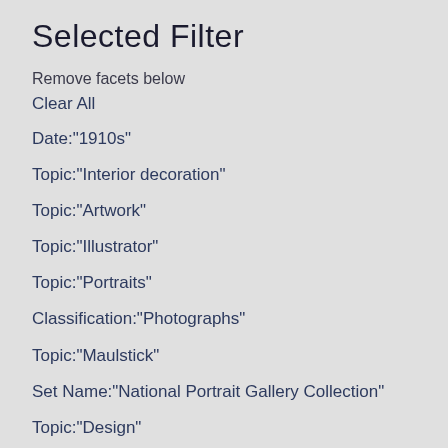Selected Filter
Remove facets below
Clear All
Date:"1910s"
Topic:"Interior decoration"
Topic:"Artwork"
Topic:"Illustrator"
Topic:"Portraits"
Classification:"Photographs"
Topic:"Maulstick"
Set Name:"National Portrait Gallery Collection"
Topic:"Design"